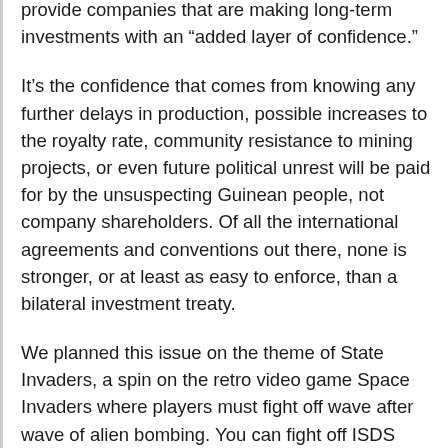provide companies that are making long-term investments with an “added layer of confidence.”
It’s the confidence that comes from knowing any further delays in production, possible increases to the royalty rate, community resistance to mining projects, or even future political unrest will be paid for by the unsuspecting Guinean people, not company shareholders. Of all the international agreements and conventions out there, none is stronger, or at least as easy to enforce, than a bilateral investment treaty.
We planned this issue on the theme of State Invaders, a spin on the retro video game Space Invaders where players must fight off wave after wave of alien bombing. You can fight off ISDS cases yourself in an invaders-type video game the Monitor built to draw more attention to this increasingly embattled corporate rights regime.
A special feature starting on page 16 of our July-August issue exposes the ways corporations and investors use treaties like the FIRA with Guinea